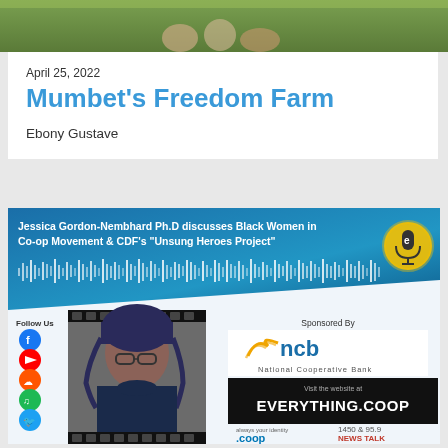[Figure (photo): Top portion of an outdoor photo showing people in a grassy area]
April 25, 2022
Mumbet's Freedom Farm
Ebony Gustave
[Figure (screenshot): Podcast promotional image: Jessica Gordon-Nembhard Ph.D discusses Black Women in Co-op Movement & CDF's 'Unsung Heroes Project'. Sponsored by NCB National Cooperative Bank. Visit the website at EVERYTHING.COOP. Features social media follow icons (Facebook, YouTube, SoundCloud, Spotify, Twitter), a photo of a woman with dreadlocks and glasses, logos for .coop and News Talk 1450 & 95.9.]